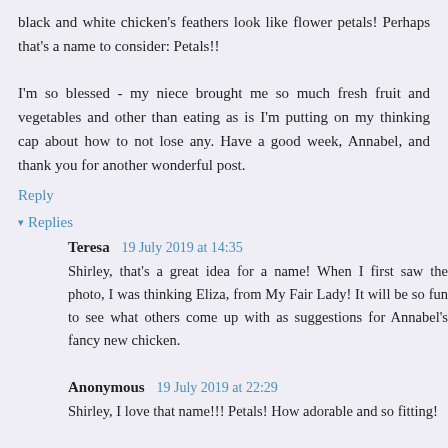black and white chicken's feathers look like flower petals! Perhaps that's a name to consider: Petals!!
I'm so blessed - my niece brought me so much fresh fruit and vegetables and other than eating as is I'm putting on my thinking cap about how to not lose any. Have a good week, Annabel, and thank you for another wonderful post.
Reply
▾ Replies
Teresa  19 July 2019 at 14:35
Shirley, that's a great idea for a name! When I first saw the photo, I was thinking Eliza, from My Fair Lady! It will be so fun to see what others come up with as suggestions for Annabel's fancy new chicken.
Anonymous  19 July 2019 at 22:29
Shirley, I love that name!!! Petals! How adorable and so fitting!